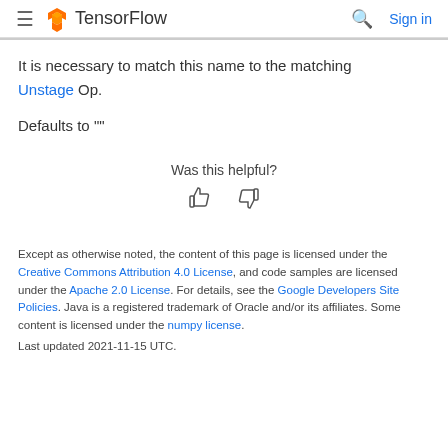TensorFlow
It is necessary to match this name to the matching Unstage Op.
Defaults to ""
Was this helpful?
[Figure (illustration): Thumbs up and thumbs down icons for feedback]
Except as otherwise noted, the content of this page is licensed under the Creative Commons Attribution 4.0 License, and code samples are licensed under the Apache 2.0 License. For details, see the Google Developers Site Policies. Java is a registered trademark of Oracle and/or its affiliates. Some content is licensed under the numpy license.
Last updated 2021-11-15 UTC.